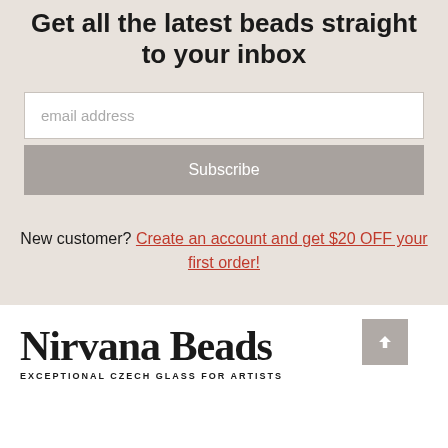Get all the latest beads straight to your inbox
email address
Subscribe
New customer? Create an account and get $20 OFF your first order!
[Figure (logo): Nirvana Beads logo with text 'EXCEPTIONAL CZECH GLASS FOR ARTISTS']
[Figure (other): Scroll to top button with upward arrow]